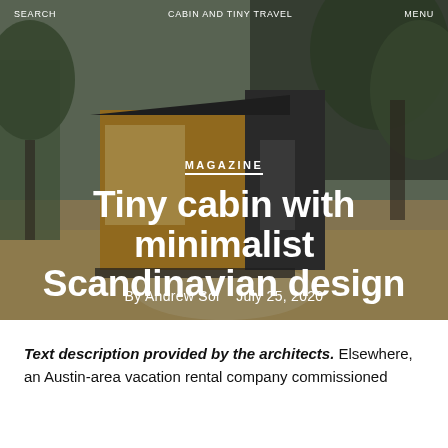SEARCH   CABIN AND TINY TRAVEL   MENU
[Figure (photo): A modern tiny cabin with cedar wood siding and dark metal cladding set in a dry grassy landscape with trees in the background under a cloudy sky.]
MAGAZINE
Tiny cabin with minimalist Scandinavian design
By Andrew Sol    July 25, 2020
Text description provided by the architects. Elsewhere, an Austin-area vacation rental company commissioned